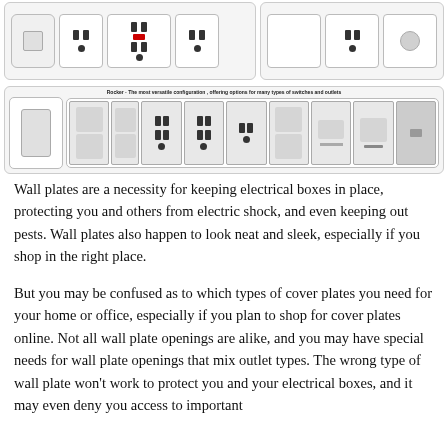[Figure (photo): Top row showing two panels of electrical wall plates/outlets/switches. Left panel shows a blank plate, an outlet, a GFCI outlet with red indicator, and a standard outlet. Right panel shows various outlet and switch configurations.]
[Figure (photo): Rocker wall plate panel labeled 'Rocker - The most versatile configuration, offering options for many types of switches and outlets'. Shows a single rocker face plate followed by many rocker switch/outlet configurations including standard rockers, GFCI outlets, dimmers, and sensor switches.]
Wall plates are a necessity for keeping electrical boxes in place, protecting you and others from electric shock, and even keeping out pests. Wall plates also happen to look neat and sleek, especially if you shop in the right place.
But you may be confused as to which types of cover plates you need for your home or office, especially if you plan to shop for cover plates online. Not all wall plate openings are alike, and you may have special needs for wall plate openings that mix outlet types. The wrong type of wall plate won't work to protect you and your electrical boxes, and it may even deny you access to important